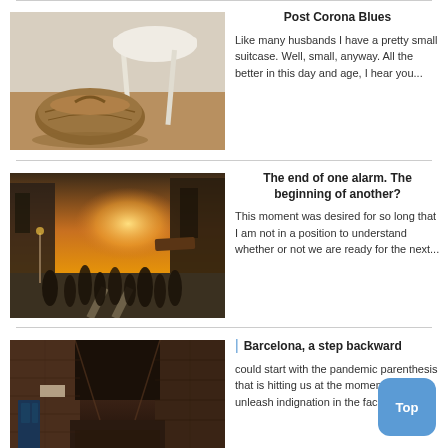[Figure (photo): A brown duffel bag on a wooden floor next to a white chair leg]
Post Corona Blues
Like many husbands I have a pretty small suitcase. Well, small, anyway. All the better in this day and age, I hear you...
[Figure (photo): Busy city street with crowds of people and sunlight between buildings]
The end of one alarm. The beginning of another?
This moment was desired for so long that I am not in a position to understand whether or not we are ready for the next...
[Figure (photo): Narrow alley between old brick buildings, dark atmosphere]
Barcelona, a step backward
could start with the pandemic parenthesis that is hitting us at the moment. I could unleash indignation in the face of...